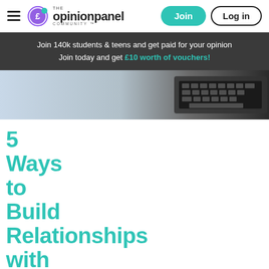The Opinion Panel Community — Join | Log in
Join 140k students & teens and get paid for your opinion
Join today and get £10 worth of vouchers!
[Figure (photo): Hero image showing a laptop keyboard, blurred background with blue-grey tones on the left and dark keyboard on the right.]
5 Ways to Build Relationships with Your Readers